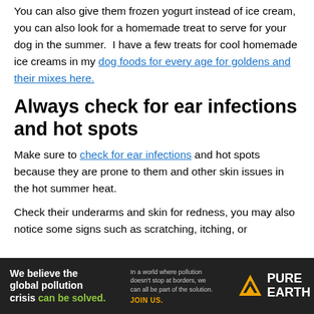You can also give them frozen yogurt instead of ice cream, you can also look for a homemade treat to serve for your dog in the summer. I have a few treats for cool homemade ice creams in my dog foods for every age for goldens and their mixes here.
Always check for ear infections and hot spots
Make sure to check for ear infections and hot spots because they are prone to them and other skin issues in the hot summer heat.
Check their underarms and skin for redness, you may also notice some signs such as scratching, itching, or
[Figure (other): Advertisement banner for Pure Earth: 'We believe the global pollution crisis can be solved.' with Pure Earth logo]